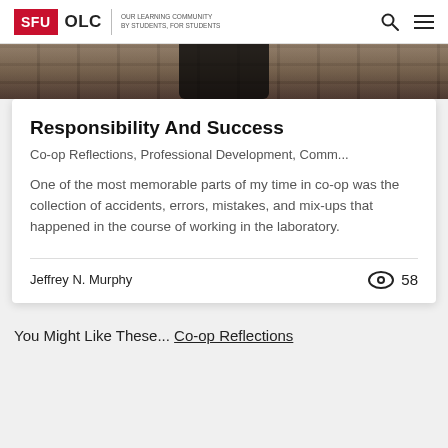SFU OLC | OUR LEARNING COMMUNITY BY STUDENTS, FOR STUDENTS
[Figure (photo): Partial hero image showing a dark figure against a brick wall background]
Responsibility And Success
Co-op Reflections, Professional Development, Comm...
One of the most memorable parts of my time in co-op was the collection of accidents, errors, mistakes, and mix-ups that happened in the course of working in the laboratory.
Jeffrey N. Murphy — 58 views
You Might Like These... Co-op Reflections